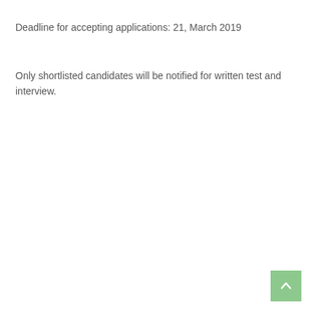Deadline for accepting applications: 21, March 2019
Only shortlisted candidates will be notified for written test and interview.